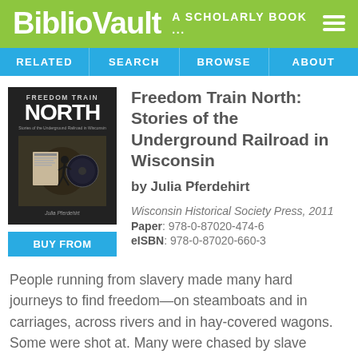BiblioVault A SCHOLARLY BOOK ...
RELATED | SEARCH | BROWSE | ABOUT
[Figure (illustration): Book cover of 'Freedom Train North' showing text and historical imagery on dark background]
Freedom Train North: Stories of the Underground Railroad in Wisconsin
by Julia Pferdehirt
Wisconsin Historical Society Press, 2011
Paper: 978-0-87020-474-6
eISBN: 978-0-87020-660-3
People running from slavery made many hard journeys to find freedom—on steamboats and in carriages, across rivers and in hay-covered wagons. Some were shot at. Many were chased by slave catchers. Others hid in tunnels and